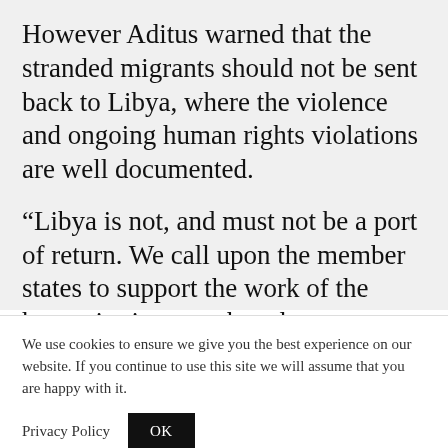However Aditus warned that the stranded migrants should not be sent back to Libya, where the violence and ongoing human rights violations are well documented.
“Libya is not, and must not be a port of return. We call upon the member states to support the work of the humanitarian search and rescue
We use cookies to ensure we give you the best experience on our website. If you continue to use this site we will assume that you are happy with it.
Privacy Policy  OK